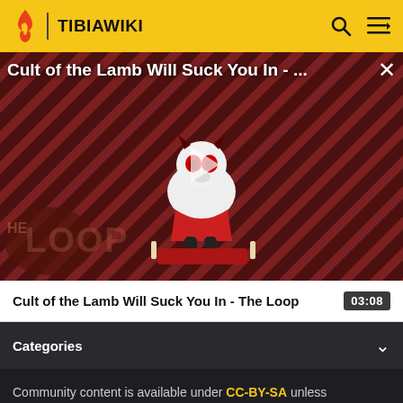TIBIAWIKI
[Figure (screenshot): Video thumbnail for 'Cult of the Lamb Will Suck You In - The Loop' showing a cartoon lamb character with red eyes on a diagonal striped red/black background, with 'THE LOOP' text visible and a play button overlay.]
Cult of the Lamb Will Suck You In - The Loop  03:08
Categories
Community content is available under CC-BY-SA unless otherwise noted.